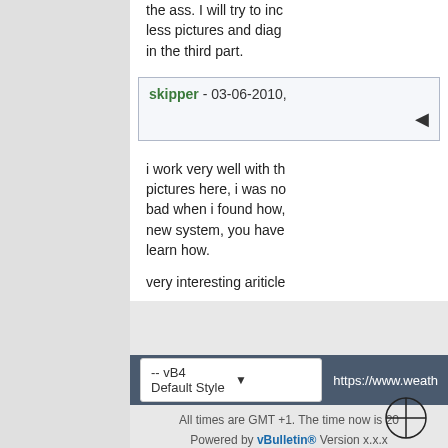the ass. I will try to inc less pictures and diag in the third part.
skipper - 03-06-2010,
i work very well with th pictures here, i was no bad when i found how, new system, you have learn how.
very interesting ariticle
-- vB4 Default Style   https://www.weath
All times are GMT +1. The time now is 20 Powered by vBulletin® Version x.x.x Copyright © 2022 vBulletin Solutions, Inc. All righ www.weatherby.dk